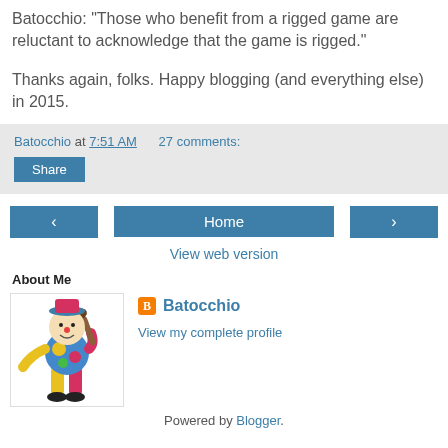Batocchio: "Those who benefit from a rigged game are reluctant to acknowledge that the game is rigged."
Thanks again, folks. Happy blogging (and everything else) in 2015.
Batocchio at 7:51 AM     27 comments:
Share
[Figure (other): Navigation bar with left arrow button, Home button, right arrow button]
View web version
About Me
[Figure (illustration): Colorful clown/jester figure swinging a bat]
Batocchio
View my complete profile
Powered by Blogger.